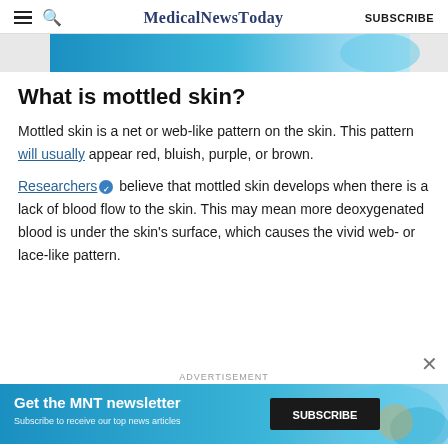MedicalNewsToday  SUBSCRIBE
[Figure (photo): Blue and light blue advertisement banner image at top of page]
What is mottled skin?
Mottled skin is a net or web-like pattern on the skin. This pattern will usually appear red, bluish, purple, or brown.
Researchers believe that mottled skin develops when there is a lack of blood flow to the skin. This may mean more deoxygenated blood is under the skin's surface, which causes the vivid web- or lace-like pattern.
[Figure (infographic): MNT newsletter advertisement banner: Get the MNT newsletter - Subscribe to receive our top news articles. SUBSCRIBE button on dark background. Blue decorative background with globe imagery.]